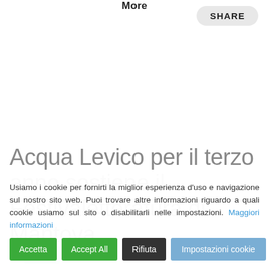More   SHARE
Arte
Acqua Levico per il terzo anno sostiene il Festivaletteratura di Mantova
Usiamo i cookie per fornirti la miglior esperienza d'uso e navigazione sul nostro sito web. Puoi trovare altre informazioni riguardo a quali cookie usiamo sul sito o disabilitarli nelle impostazioni. Maggiori informazioni
Accetta   Accept All   Rifiuta   Impostazioni cookie